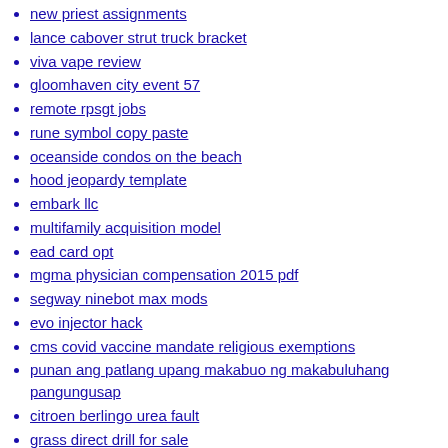new priest assignments
lance cabover strut truck bracket
viva vape review
gloomhaven city event 57
remote rpsgt jobs
rune symbol copy paste
oceanside condos on the beach
hood jeopardy template
embark llc
multifamily acquisition model
ead card opt
mgma physician compensation 2015 pdf
segway ninebot max mods
evo injector hack
cms covid vaccine mandate religious exemptions
punan ang patlang upang makabuo ng makabuluhang pangungusap
citroen berlingo urea fault
grass direct drill for sale
1960 peterbilt 281 for sale near alabama
aspiration end of life
shaker hood scoop
normal tiktok
latex remove list of figures from toc
oracle linux test